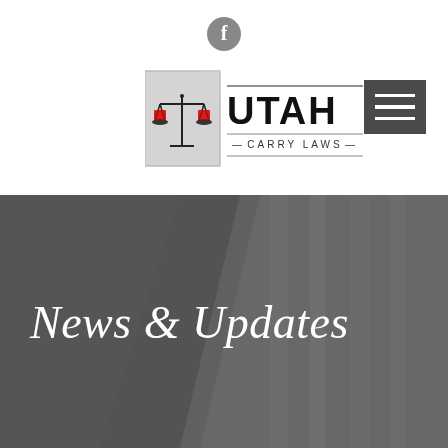[Figure (logo): Facebook icon - circular gray social media icon]
[Figure (logo): Utah Carry Laws logo - scales of justice with Utah state outline, text reading UTAH CARRY LAWS]
[Figure (other): Hamburger menu icon - dark gray rectangle with three white horizontal lines]
News & Updates